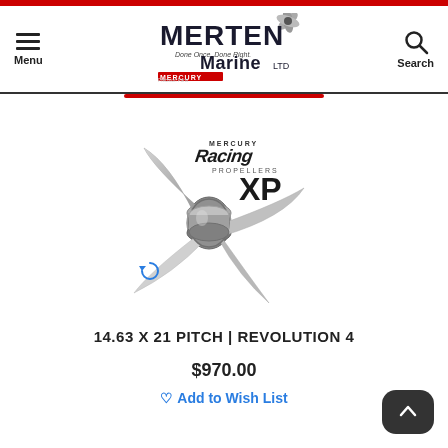[Figure (logo): Merten Marine Ltd logo with Mercury Precision Parts branding and propeller graphic]
[Figure (photo): Mercury Racing XP stainless steel 4-blade boat propeller product photo]
14.63 X 21 PITCH | REVOLUTION 4
$970.00
Add to Wish List